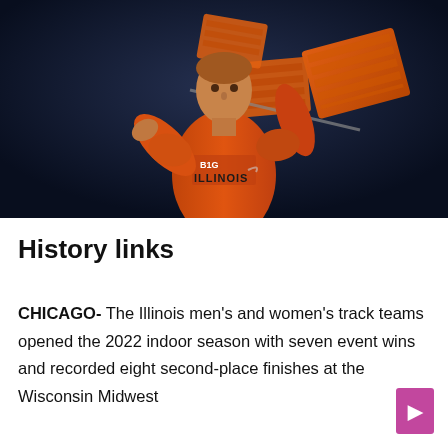[Figure (photo): An Illinois track athlete wearing an orange ILLINOIS jersey, holding orange equipment (possibly hurdles or blocks), posed against a dark blue studio background.]
History links
CHICAGO- The Illinois men's and women's track teams opened the 2022 indoor season with seven event wins and recorded eight second-place finishes at the Wisconsin Midwest